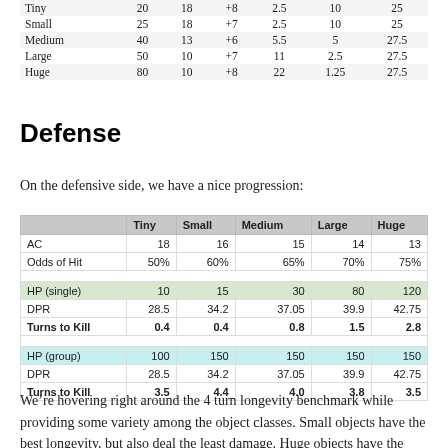|  | Tiny | Small | Medium | Large | Huge |
| --- | --- | --- | --- | --- | --- |
| Tiny | 20 | 18 | +8 | 2.5 | 10 | 25 |
| Small | 25 | 18 | +7 | 2.5 | 10 | 25 |
| Medium | 40 | 13 | +6 | 5.5 | 5 | 27.5 |
| Large | 50 | 10 | +7 | 11 | 2.5 | 27.5 |
| Huge | 80 | 10 | +8 | 22 | 1.25 | 27.5 |
Defense
On the defensive side, we have a nice progression:
|  | Tiny | Small | Medium | Large | Huge |
| --- | --- | --- | --- | --- | --- |
| AC | 18 | 16 | 15 | 14 | 13 |
| Odds of Hit | 50% | 60% | 65% | 70% | 75% |
|  |  |  |  |  |  |
| HP (single) | 10 | 15 | 30 | 80 | 120 |
| DPR | 28.5 | 34.2 | 37.05 | 39.9 | 42.75 |
| Turns to Kill | 0.4 | 0.4 | 0.8 | 1.5 | 2.8 |
|  |  |  |  |  |  |
| HP (group) | 100 | 150 | 150 | 150 | 150 |
| DPR | 28.5 | 34.2 | 37.05 | 39.9 | 42.75 |
| Turns to Kill | 3.5 | 4.4 | 4.0 | 3.8 | 3.5 |
We’re hovering right around the 4 turn longevity benchmark while providing some variety among the object classes. Small objects have the best longevity, but also deal the least damage. Huge objects have the least